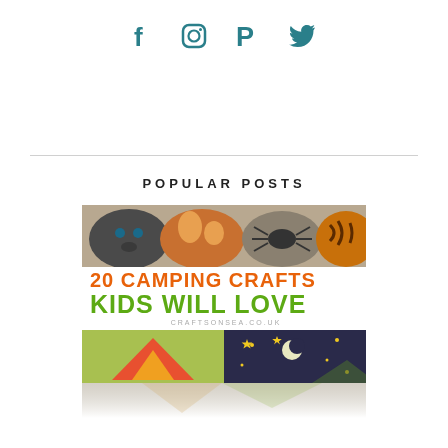[Figure (infographic): Social media icons: Facebook, Instagram, Pinterest, Twitter in teal color]
POPULAR POSTS
[Figure (photo): Blog post thumbnail for '20 Camping Crafts Kids Will Love' from craftsonsea.co.uk, showing painted rocks and camping craft images]